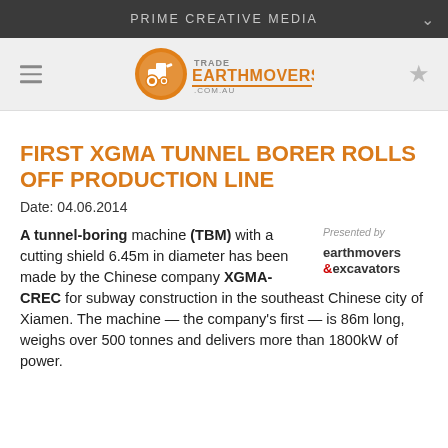PRIME CREATIVE MEDIA
[Figure (logo): Trade Earthmovers logo with orange tractor icon and text 'TRADE EARTHMOVERS .COM.AU']
FIRST XGMA TUNNEL BORER ROLLS OFF PRODUCTION LINE
Date: 04.06.2014
A tunnel-boring machine (TBM) with a cutting shield 6.45m in diameter has been made by the Chinese company XGMA-CREC for subway construction in the southeast Chinese city of Xiamen. The machine — the company's first — is 86m long, weighs over 500 tonnes and delivers more than 1800kW of power.
[Figure (logo): Presented by earthmovers & excavators logo]